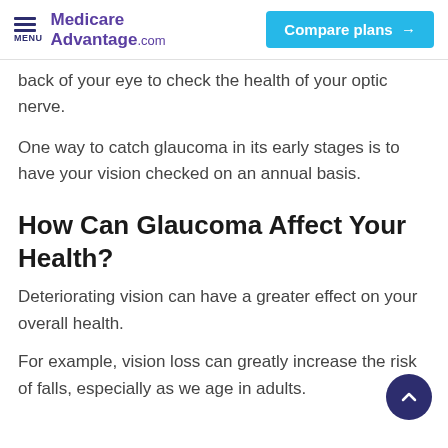MENU | MedicareAdvantage.com | Compare plans →
back of your eye to check the health of your optic nerve.
One way to catch glaucoma in its early stages is to have your vision checked on an annual basis.
How Can Glaucoma Affect Your Health?
Deteriorating vision can have a greater effect on your overall health.
For example, vision loss can greatly increase the risk of falls, especially as we age in adults.